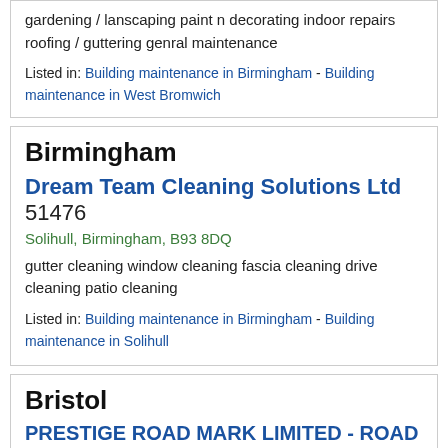gardening / lanscaping paint n decorating indoor repairs roofing / guttering genral maintenance
Listed in: Building maintenance in Birmingham - Building maintenance in West Bromwich
Birmingham
Dream Team Cleaning Solutions Ltd 51476
Solihull, Birmingham, B93 8DQ
gutter cleaning window cleaning fascia cleaning drive cleaning patio cleaning
Listed in: Building maintenance in Birmingham - Building maintenance in Solihull
Bristol
PRESTIGE ROAD MARK LIMITED - ROAD